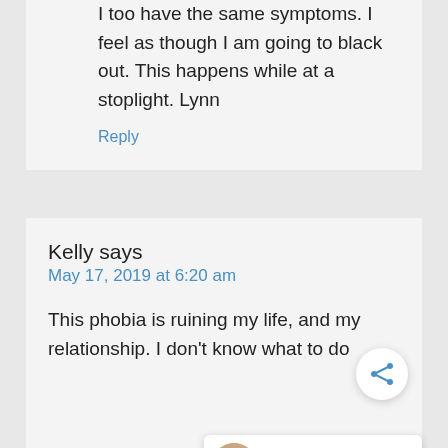I too have the same symptoms. I feel as though I am going to black out. This happens while at a stoplight. Lynn
Reply
Kelly says
May 17, 2019 at 6:20 am
This phobia is ruining my life, and my relationship. I don't know what to do
Reply